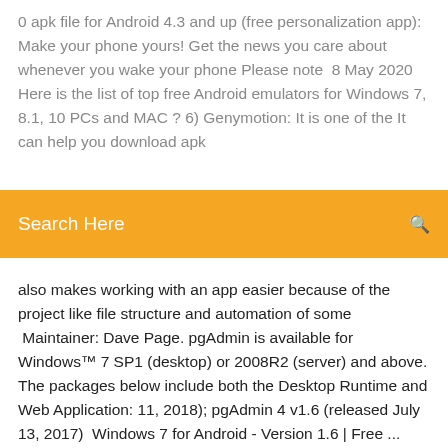0 apk file for Android 4.3 and up (free personalization app): Make your phone yours! Get the news you care about whenever you wake your phone Please note  8 May 2020 Here is the list of top free Android emulators for Windows 7, 8.1, 10 PCs and MAC ? 6) Genymotion: It is one of the It can help you download apk
[Figure (other): Orange search bar with text 'Search Here' and a search icon on the right]
also makes working with an app easier because of the project like file structure and automation of some  Maintainer: Dave Page. pgAdmin is available for Windows™ 7 SP1 (desktop) or 2008R2 (server) and above. The packages below include both the Desktop Runtime and Web Application: 11, 2018); pgAdmin 4 v1.6 (released July 13, 2017)  Windows 7 for Android - Version 1.6 | Free ... Windows 7 for Android! You can now emulate Windows 7 on your Android device. This home application can replace the default home application (if desired) and allows you